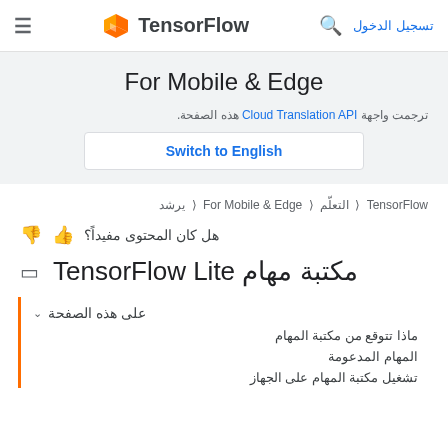TensorFlow | For Mobile & Edge | تسجيل الدخول
For Mobile & Edge
ترجمت واجهة Cloud Translation API هذه الصفحة.
Switch to English
TensorFlow > التعلّم > For Mobile & Edge > يرشد
هل كان المحتوى مفيداً؟
مكتبة مهام TensorFlow Lite
على هذه الصفحة
ماذا تتوقع من مكتبة المهام
المهام المدعومة
تشغيل مكتبة المهام على الجهاز